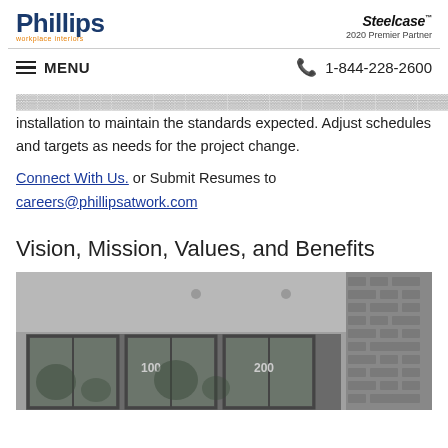Phillips workplace interiors | Steelcase 2020 Premier Partner
MENU | 1-844-228-2600
installation to maintain the standards expected. Adjust schedules and targets as needs for the project change.
Connect With Us. or Submit Resumes to careers@phillipsatwork.com
Vision, Mission, Values, and Benefits
[Figure (photo): Black and white photo of a building exterior with glass doors marked with number 200]